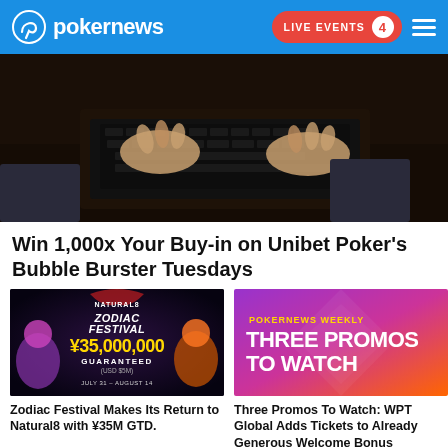pokernews — LIVE EVENTS 4
[Figure (photo): Hands typing on a laptop keyboard, dark background, close-up shot]
Win 1,000x Your Buy-in on Unibet Poker's Bubble Burster Tuesdays
[Figure (photo): Natural8 Zodiac Festival promotional banner: ¥35,000,000 GUARANTEED (USD $5M) July 31 – August 14]
[Figure (photo): PokerNews Weekly – Three Promos To Watch promotional banner with purple/orange gradient]
Zodiac Festival Makes Its Return to Natural8 with ¥35M GTD.
Three Promos To Watch: WPT Global Adds Tickets to Already Generous Welcome Bonus
[Figure (photo): Bottom left card image, dark blue background]
[Figure (photo): Bottom right card image, Natural8 branding, dark background]